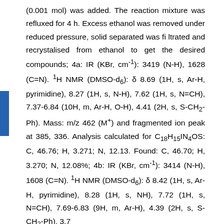(0.001 mol) was added. The reaction mixture was refluxed for 4 h. Excess ethanol was removed under reduced pressure, solid separated was filtrated and recrystalised from ethanol to get the desired compounds; 4a: IR (KBr, cm⁻¹): 3419 (N-H), 1628 (C=N). ¹H NMR (DMSO-d₆): δ 8.69 (1H, s, Ar-H, pyrimidine), 8.27 (1H, s, N-H), 7.62 (1H, s, N=CH), 7.37-6.84 (10H, m, Ar-H, O-H), 4.41 (2H, s, S-CH₂-Ph). Mass: m/z 462 (M⁺) and fragmented ion peak at 385, 336. Analysis calculated for C₁₈H₁₅IN₄OS: C, 46.76; H, 3.271; N, 12.13. Found: C, 46.70; H, 3.270; N, 12.08%; 4b: IR (KBr, cm⁻¹): 3414 (N-H), 1608 (C=N). ¹H NMR (DMSO-d₆): δ 8.42 (1H, s, Ar-H, pyrimidine), 8.28 (1H, s, NH), 7.72 (1H, s, N=CH), 7.69-6.83 (9H, m, Ar-H), 4.39 (2H, s, S-CH₂-Ph), 3.7